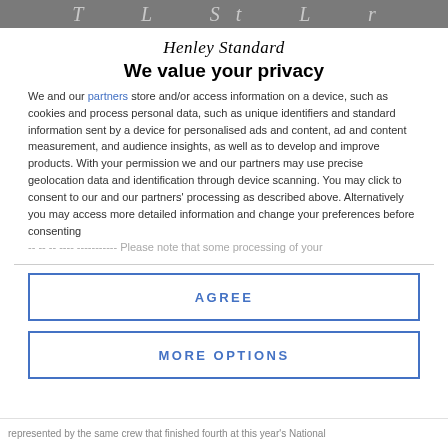T L St L r
Henley Standard
We value your privacy
We and our partners store and/or access information on a device, such as cookies and process personal data, such as unique identifiers and standard information sent by a device for personalised ads and content, ad and content measurement, and audience insights, as well as to develop and improve products. With your permission we and our partners may use precise geolocation data and identification through device scanning. You may click to consent to our and our partners' processing as described above. Alternatively you may access more detailed information and change your preferences before consenting -- -- -- ---- ----------- Please note that some processing of your
AGREE
MORE OPTIONS
represented by the same crew that finished fourth at this year's National